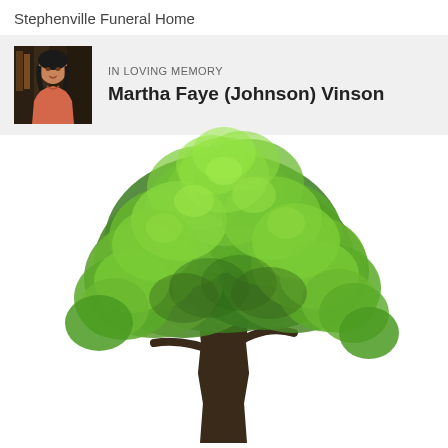Stephenville Funeral Home
IN LOVING MEMORY
Martha Faye (Johnson) Vinson
[Figure (photo): Large green deciduous tree with full leafy canopy on a white background, photographed from below/side showing thick brown trunk and spreading green branches]